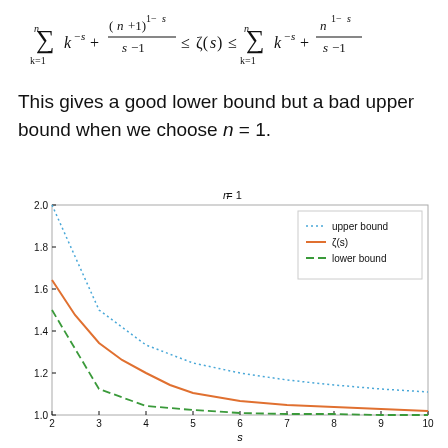This gives a good lower bound but a bad upper bound when we choose n = 1.
[Figure (continuous-plot): Line chart showing upper bound (blue dotted), zeta(s) (orange solid), and lower bound (green dashed) curves from s=2 to s=10, all decreasing from around 2.0/1.65/1.5 at s=2 toward 1.0 as s increases.]